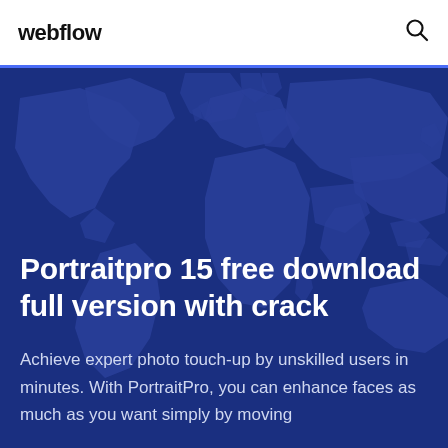webflow
[Figure (illustration): World map silhouette illustration in blue tones on dark navy background, used as hero banner background]
Portraitpro 15 free download full version with crack
Achieve expert photo touch-up by unskilled users in minutes. With PortraitPro, you can enhance faces as much as you want simply by moving